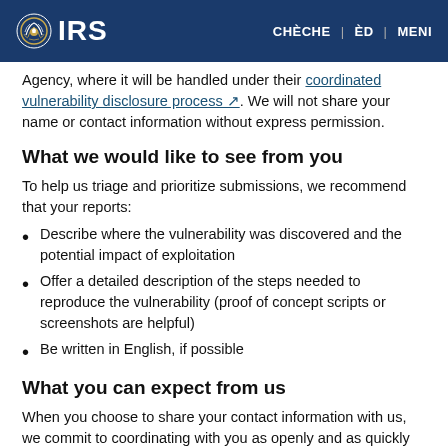IRS | CHÈCHE | ÈD | MENI
Agency, where it will be handled under their coordinated vulnerability disclosure process. We will not share your name or contact information without express permission.
What we would like to see from you
To help us triage and prioritize submissions, we recommend that your reports:
Describe where the vulnerability was discovered and the potential impact of exploitation
Offer a detailed description of the steps needed to reproduce the vulnerability (proof of concept scripts or screenshots are helpful)
Be written in English, if possible
What you can expect from us
When you choose to share your contact information with us, we commit to coordinating with you as openly and as quickly as possible.